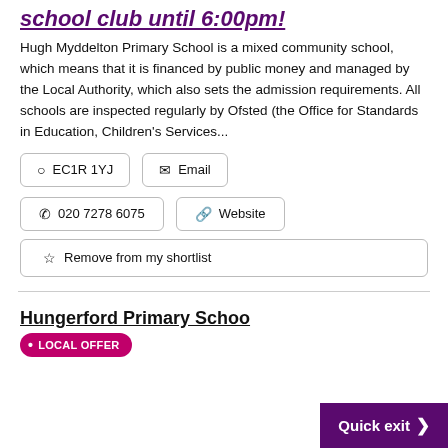school club until 6:00pm!
Hugh Myddelton Primary School is a mixed community school, which means that it is financed by public money and managed by the Local Authority, which also sets the admission requirements. All schools are inspected regularly by Ofsted (the Office for Standards in Education, Children's Services...
EC1R 1YJ
Email
020 7278 6075
Website
Remove from my shortlist
Hungerford Primary School
• LOCAL OFFER
Quick exit >